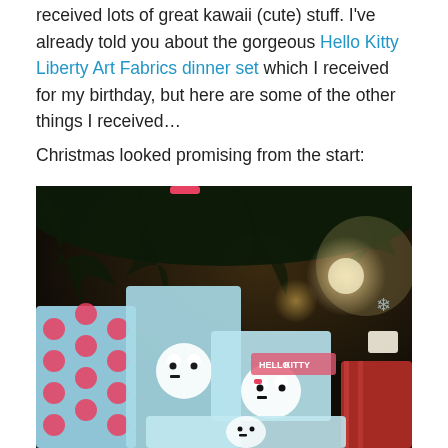received lots of great kawaii (cute) stuff. I've already told you about the gorgeous Hello Kitty Liberty Art Fabrics dinner set which I received for my birthday, but here are some of the other things I received…
Christmas looked promising from the start:
[Figure (photo): Christmas presents wrapped in Hello Kitty gift wrap and polka dot wrapping paper, arranged under a Christmas tree with lights]